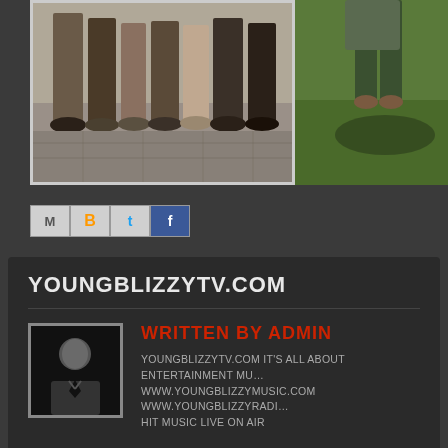[Figure (photo): Two photos side by side: left shows a group of people from waist down standing on pavement, right shows a person outdoors on grass]
[Figure (screenshot): Social media share buttons: Email (M), Blogger (B), Twitter (t), Facebook (f)]
YOUNGBLIZZYTV.COM
WRITTEN BY ADMIN
YOUNGBLIZZYTV.COM IT'S ALL ABOUT ENTERTAINMENT MU... WWW.YOUNGBLIZZYMUSIC.COM WWW.YOUNGBLIZZYRADI... HIT MUSIC LIVE ON AIR